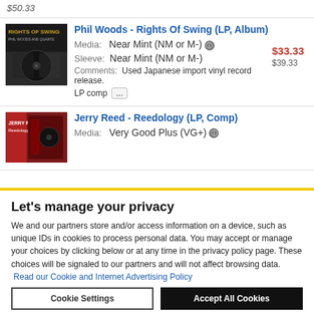$50.33
Phil Woods - Rights Of Swing (LP, Album)
Media: Near Mint (NM or M-)
Sleeve: Near Mint (NM or M-)
Comments: Used Japanese import vinyl record release. LP comp ...
$33.33
$39.33
Jerry Reed - Reedology (LP, Comp)
Media: Very Good Plus (VG+)
Let's manage your privacy
We and our partners store and/or access information on a device, such as unique IDs in cookies to process personal data. You may accept or manage your choices by clicking below or at any time in the privacy policy page. These choices will be signaled to our partners and will not affect browsing data. Read our Cookie and Internet Advertising Policy
Cookie Settings | Accept All Cookies